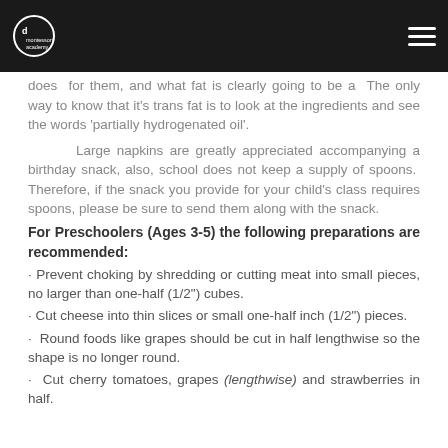d Montessori Academy logo and hamburger menu
does for them, and what fat is clearly going to be a The only way to know that it's trans fat is to look at the ingredients and see the words 'partially hydrogenated oil'.
Large napkins are greatly appreciated accompanying a birthday snack, also, school does not keep a supply of spoons. Therefore, if the snack you provide for your child's class requires spoons, please be sure to send them along with the snack.
For Preschoolers (Ages 3-5) the following preparations are recommended:
· Prevent choking by shredding or cutting meat into small pieces, no larger than one-half (1/2") cubes.
· Cut cheese into thin slices or small one-half inch (1/2") pieces.
· Round foods like grapes should be cut in half lengthwise so the shape is no longer round.
· Cut cherry tomatoes, grapes (lengthwise) and strawberries in half.